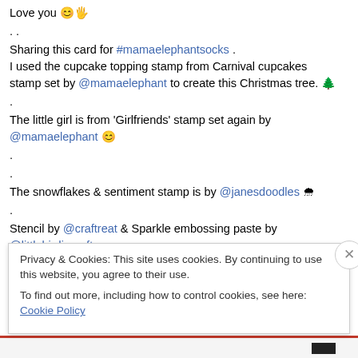Love you 😊🖐
. .
Sharing this card for #mamaelephantsocks . I used the cupcake topping stamp from Carnival cupcakes stamp set by @mamaelephant to create this Christmas tree. 🌲
.
The little girl is from 'Girlfriends' stamp set again by @mamaelephant 😊
.
.
The snowflakes & sentiment stamp is by @janesdoodles 🌨
.
Stencil by @craftreat & Sparkle embossing paste by @littlebirdiecrafts .
. .
#mamaelephant #janesdoodlesstamps #janesdoodles #itsvbitsvonlinestore #littlebirdiecrafts #stamping #interactive
Privacy & Cookies: This site uses cookies. By continuing to use this website, you agree to their use. To find out more, including how to control cookies, see here: Cookie Policy